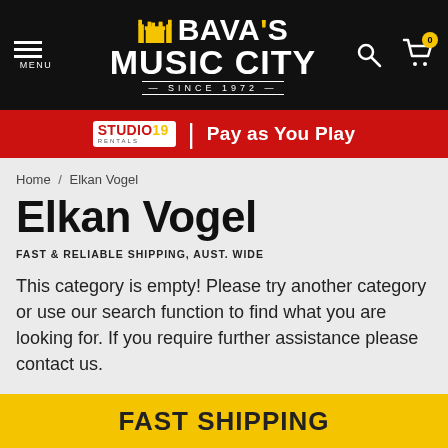BAVA'S MUSIC CITY SINCE 1972
[Figure (screenshot): Red promotional banner with Studio19 Rentals logo and 'Pay as You Play' text]
Home / Elkan Vogel
Elkan Vogel
FAST & RELIABLE SHIPPING, AUST. WIDE
This category is empty! Please try another category or use our search function to find what you are looking for. If you require further assistance please contact us.
FAST SHIPPING